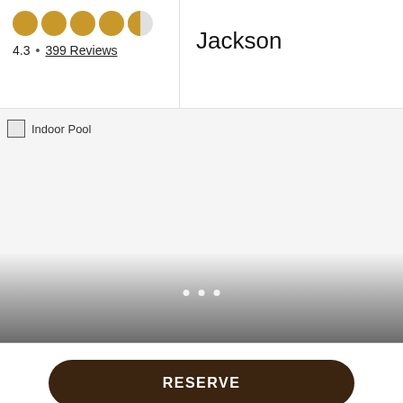Jackson
[Figure (other): Star rating display showing 4 filled gold circles and 1 half circle, rating 4.3]
4.3 • 399 Reviews
[Figure (photo): Indoor Pool image (broken/loading image placeholder shown)]
RESERVE